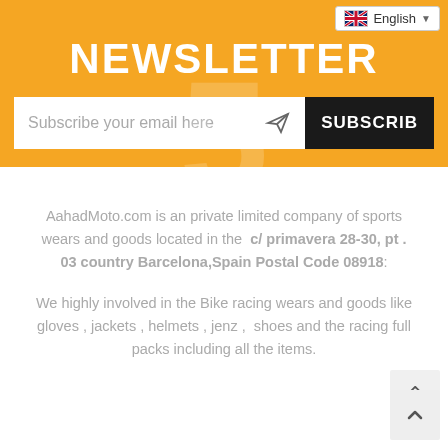English
NEWSLETTER
Subscribe your email here  SUBSCRIB
AahadMoto.com is an private limited company of sports wears and goods located in the c/ primavera 28-30, pt . 03 country Barcelona,Spain Postal Code 08918:
We highly involved in the Bike racing wears and goods like gloves , jackets , helmets , jenz , shoes and the racing full packs including all the items.